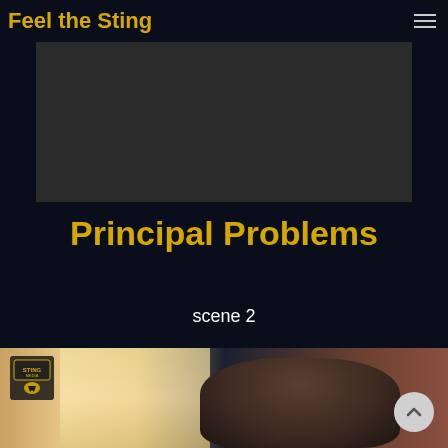Feel the Sting
[Figure (other): Dark gray video player placeholder block]
Principal Problems
scene 2
[Figure (photo): Photo of a young man smoking near a window with bright daylight behind him, dark interior, with a small logo overlay in the top-left corner]